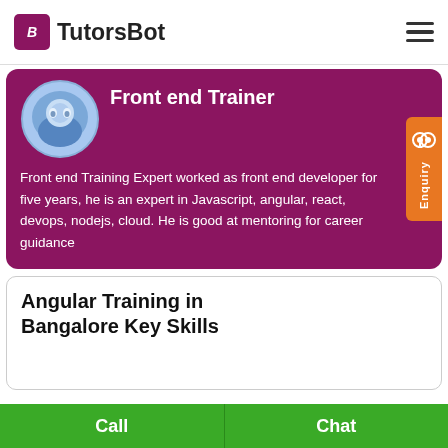TutorsBot
[Figure (illustration): TutorsBot logo with stylized TB icon in maroon square and site name, plus hamburger menu icon]
Front end Trainer
Front end Training Expert worked as front end developer for five years, he is an expert in Javascript, angular, react, devops, nodejs, cloud. He is good at mentoring for career guidance
[Figure (illustration): Orange Enquiry tab on right side with headset icon and vertical text 'Enquiry']
Angular Training in Bangalore Key Skills
Call
Chat